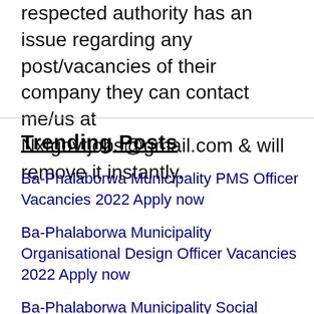respected authority has an issue regarding any post/vacancies of their company they can contact me/us at Nxtgovtjobs@gmail.com & will remove it instantly.
Trending Posts
Ba-Phalaborwa Municipality PMS Officer Vacancies 2022 Apply now
Ba-Phalaborwa Municipality Organisational Design Officer Vacancies 2022 Apply now
Ba-Phalaborwa Municipality Social Services Manager Vacancies 2022 Apply now
Ba-Phalaborwa Municipality Technical Services Manager Vacancies 2022 Apply now